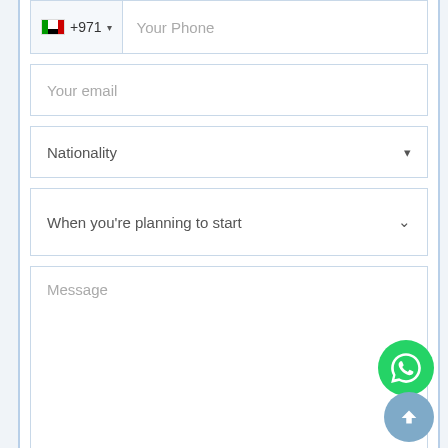[Figure (screenshot): A web contact form showing phone field with UAE flag and +971 code, email field, nationality dropdown, planning start dropdown, message textarea, and Send Message button. WhatsApp and scroll-to-top floating buttons visible in the bottom right.]